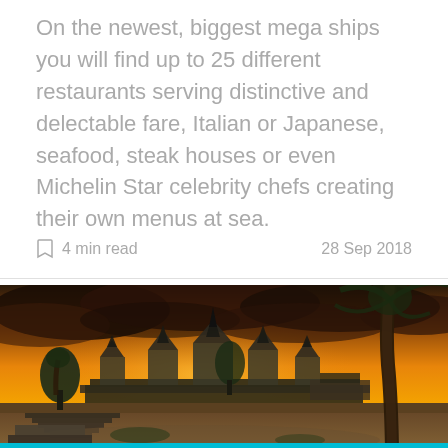On the newest, biggest mega ships you will find up to 25 different restaurants serving distinctive and delectable fare, Italian or Japanese, seafood, steak houses or even Michelin Star celebrity chefs creating their own menus at sea.
4 min read   28 Sep 2018
[Figure (photo): Angkor Wat temple at sunset with dramatic orange sky, palm trees in foreground, and stone steps in front of the ancient temple complex.]